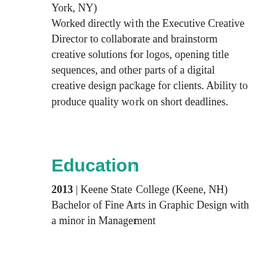York, NY) Worked directly with the Executive Creative Director to collaborate and brainstorm creative solutions for logos, opening title sequences, and other parts of a digital creative design package for clients. Ability to produce quality work on short deadlines.
Education
2013 | Keene State College (Keene, NH) Bachelor of Fine Arts in Graphic Design with a minor in Management